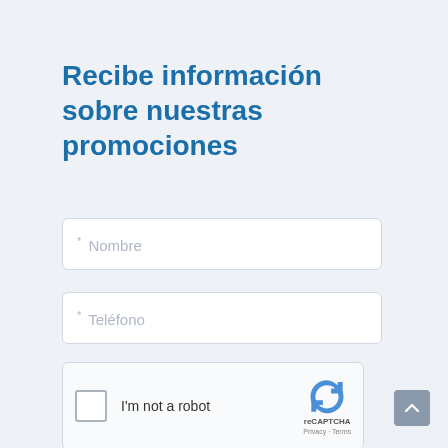Recibe información sobre nuestras promociones
* Nombre
* Teléfono
[Figure (other): reCAPTCHA widget with checkbox labeled 'I'm not a robot', Google reCAPTCHA logo, and Privacy/Terms links]
[Figure (other): Scroll-to-top button arrow icon]